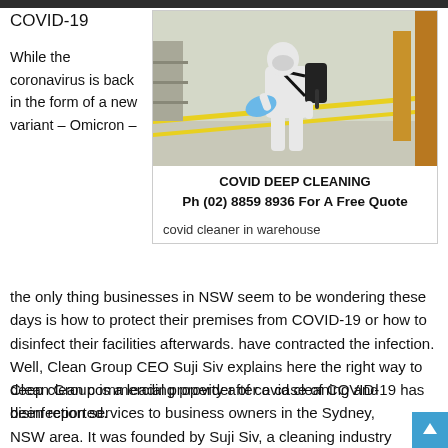COVID-19
While the coronavirus is back in the form of a new variant – Omicron –
[Figure (photo): A person in white protective suit and mask with backpack sprayer and blue cloth, cleaning in a warehouse environment with yellow striped floor markings.]
COVID DEEP CLEANING
Ph (02) 8859 8936 For A Free Quote
covid cleaner in warehouse
the only thing businesses in NSW seem to be wondering these days is how to protect their premises from COVID-19 or how to disinfect their facilities afterwards. have contracted the infection. Well, Clean Group CEO Suji Siv explains here the right way to deep clean commercial property after a case of COVID-19 has been reported.
Clean Group is a leading provider of covid cleaning and disinfection services to business owners in the Sydney, NSW area. It was founded by Suji Siv, a cleaning industry veteran who has been involved in cleaning businesses for over two decades.